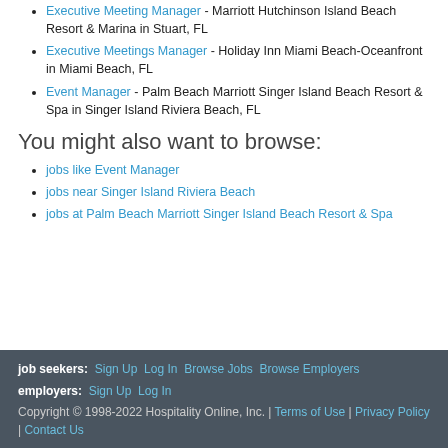Executive Meeting Manager - Marriott Hutchinson Island Beach Resort & Marina in Stuart, FL
Executive Meetings Manager - Holiday Inn Miami Beach-Oceanfront in Miami Beach, FL
Event Manager - Palm Beach Marriott Singer Island Beach Resort & Spa in Singer Island Riviera Beach, FL
You might also want to browse:
jobs like Event Manager
jobs near Singer Island Riviera Beach
jobs at Palm Beach Marriott Singer Island Beach Resort & Spa
job seekers: Sign Up  Log In  Browse Jobs  Browse Employers
employers: Sign Up  Log In
Copyright © 1998-2022 Hospitality Online, Inc. | Terms of Use | Privacy Policy | Contact Us